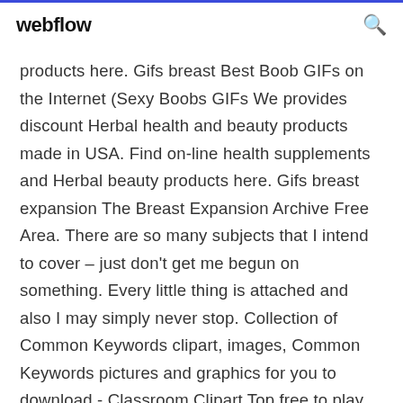webflow
products here. Gifs breast Best Boob GIFs on the Internet (Sexy Boobs GIFs We provides discount Herbal health and beauty products made in USA. Find on-line health supplements and Herbal beauty products here. Gifs breast expansion The Breast Expansion Archive Free Area. There are so many subjects that I intend to cover – just don't get me begun on something. Every little thing is attached and also I may simply never stop. Collection of Common Keywords clipart, images, Common Keywords pictures and graphics for you to download - Classroom Clipart Top free to play sandbox mmorpgs, sandbox games and sandbox MMOs to download right now